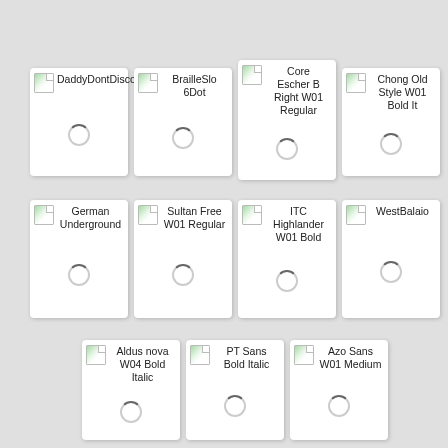[Figure (other): Font preview card: DaddyDontDisco with loading spinner]
[Figure (other): Font preview card: BrailleSlo 6Dot with loading spinner]
[Figure (other): Font preview card: Core Escher B Right W01 Regular with loading spinner]
[Figure (other): Font preview card: Chong Old Style W01 Bold It with loading spinner]
[Figure (other): Font preview card: German Underground with loading spinner]
[Figure (other): Font preview card: Sultan Free W01 Regular with loading spinner]
[Figure (other): Font preview card: ITC Highlander W01 Bold with loading spinner]
[Figure (other): Font preview card: WestBalaio with loading spinner]
[Figure (other): Font preview card: Aldus nova W04 Bold Italic with loading spinner]
[Figure (other): Font preview card: PT Sans Bold Italic with loading spinner]
[Figure (other): Font preview card: Azo Sans W01 Medium with loading spinner]